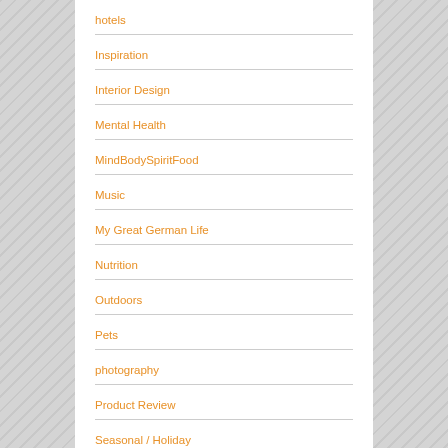hotels
Inspiration
Interior Design
Mental Health
MindBodySpiritFood
Music
My Great German Life
Nutrition
Outdoors
Pets
photography
Product Review
Seasonal / Holiday
Sleep